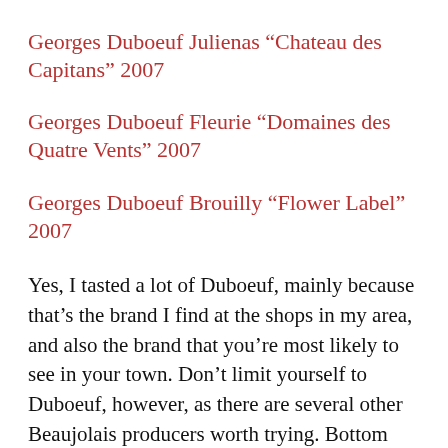Georges Duboeuf Julienas “Chateau des Capitans” 2007
Georges Duboeuf Fleurie “Domaines des Quatre Vents” 2007
Georges Duboeuf Brouilly “Flower Label” 2007
Yes, I tasted a lot of Duboeuf, mainly because that’s the brand I find at the shops in my area, and also the brand that you’re most likely to see in your town. Don’t limit yourself to Duboeuf, however, as there are several other Beaujolais producers worth trying. Bottom line is, if you see “Beaujolais” on a wine label